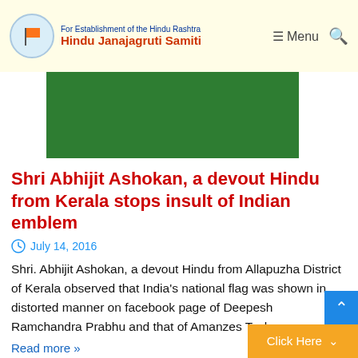For Establishment of the Hindu Rashtra | Hindu Janajagruti Samiti
[Figure (illustration): Green banner/advertisement block]
Shri Abhijit Ashokan, a devout Hindu from Kerala stops insult of Indian emblem
July 14, 2016
Shri. Abhijit Ashokan, a devout Hindu from Allapuzha District of Kerala observed that India's national flag was shown in distorted manner on facebook page of Deepesh Ramchandra Prabhu and that of Amanzes Tech.
Read more »